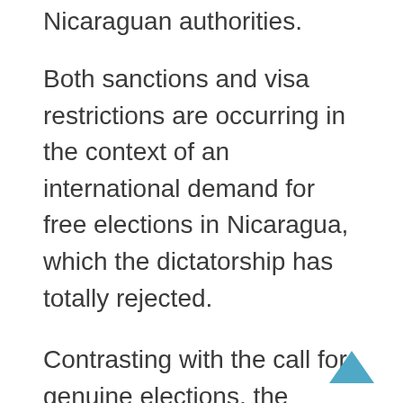Nicaraguan authorities.
Both sanctions and visa restrictions are occurring in the context of an international demand for free elections in Nicaragua, which the dictatorship has totally rejected.
Contrasting with the call for genuine elections, the FSLN-dominated justice system proceeded to jail popular opposition figures under the pretext of an investigation for alleged treason to the nation. The imprisonments occur within the framework of recently passed Law #1055, which punishes those who applaud